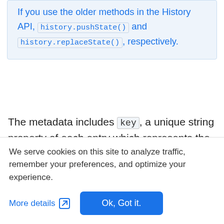If you use the older methods in the History API, history.pushState() and history.replaceState(), respectively.
The metadata includes key, a unique string property of each entry which represents the current entry and its slot. This key remains the same even if the current entry's URL or state changes. It's still in the same slot. Conversely, if a user presses Back and then re-opens the same
We serve cookies on this site to analyze traffic, remember your preferences, and optimize your experience.